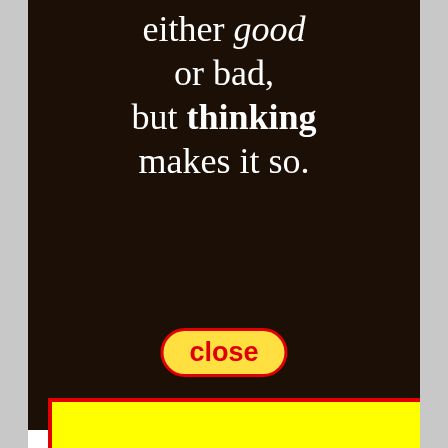[Figure (illustration): Dark-background motivational quote poster showing text: 'either good or bad, but thinking makes it so.' with a yellow 'close' button overlay. Below the poster is a bright yellow advertisement block with a red border covering most of the lower half of the page. Partial text lines reading 'Sour', 'Ham', and 'trea' are visible on the left edge beneath the yellow block.]